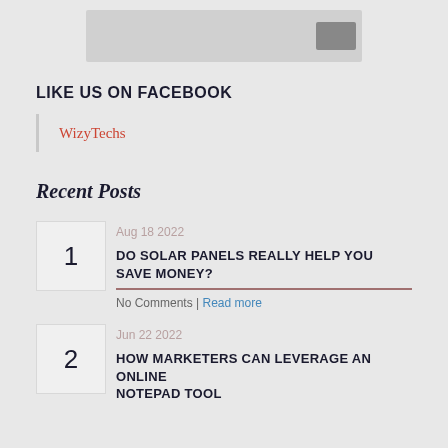[Figure (screenshot): Partial view of a UI widget with a light gray box containing an input area and a dark gray button on the right side]
LIKE US ON FACEBOOK
WizyTechs
Recent Posts
1 | Aug 18 2022 | DO SOLAR PANELS REALLY HELP YOU SAVE MONEY? | No Comments | Read more
2 | Jun 22 2022 | HOW MARKETERS CAN LEVERAGE AN ONLINE NOTEPAD TOOL